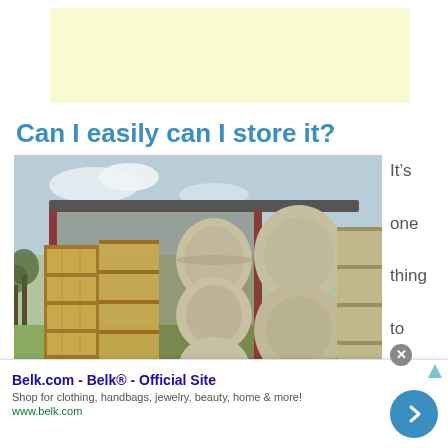[Figure (other): Yellow/cream colored advertisement banner placeholder at top of page]
Can I easily can I store it?
[Figure (photo): Photograph of large round and square hay bales stacked inside and around a rustic wooden open barn structure in a field, with trees and sky in background]
It’s one thing to buy
[Figure (other): Advertisement for Belk.com - Belk Official Site. Shop for clothing, handbags, jewelry, beauty, home & more! www.belk.com. With a blue circular next arrow button on the right.]